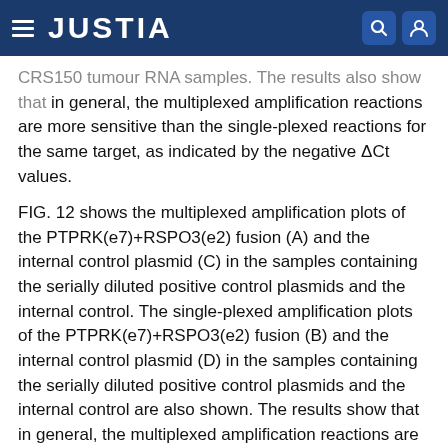JUSTIA
CRS150 tumour RNA samples. The results also show that in general, the multiplexed amplification reactions are more sensitive than the single-plexed reactions for the same target, as indicated by the negative ΔCt values.
FIG. 12 shows the multiplexed amplification plots of the PTPRK(e7)+RSPO3(e2) fusion (A) and the internal control plasmid (C) in the samples containing the serially diluted positive control plasmids and the internal control. The single-plexed amplification plots of the PTPRK(e7)+RSPO3(e2) fusion (B) and the internal control plasmid (D) in the samples containing the serially diluted positive control plasmids and the internal control are also shown. The results show that in general, the multiplexed amplification reactions are more sensitive than the single-plexed reactions, as indicated by the negative ΔCt values.